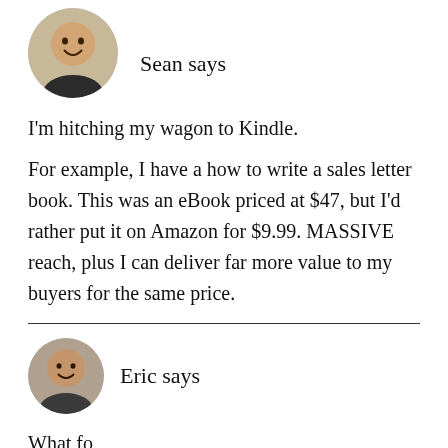[Figure (photo): Circular avatar photo of Sean, a man smiling]
Sean says
I'm hitching my wagon to Kindle.
For example, I have a how to write a sales letter book. This was an eBook priced at $47, but I'd rather put it on Amazon for $9.99. MASSIVE reach, plus I can deliver far more value to my buyers for the same price.
[Figure (photo): Circular avatar photo of Eric, a man smiling]
Eric says
What follows is the truncated beginning of Eric's comment